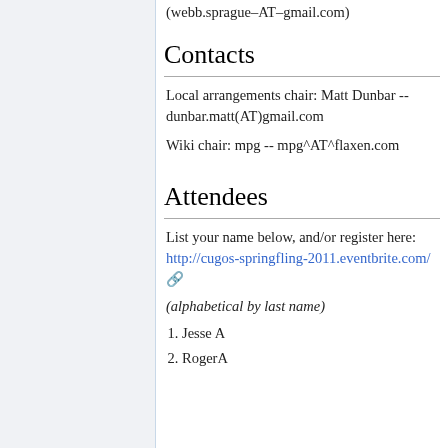(webb.sprague-AT-gmail.com)
Contacts
Local arrangements chair: Matt Dunbar -- dunbar.matt(AT)gmail.com
Wiki chair: mpg -- mpg^AT^flaxen.com
Attendees
List your name below, and/or register here: http://cugos-springfling-2011.eventbrite.com/
(alphabetical by last name)
Jesse A
RogerA